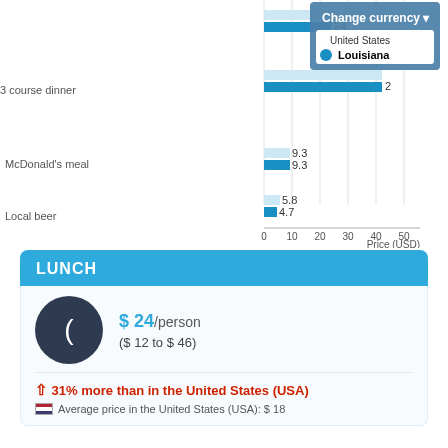[Figure (grouped-bar-chart): Meal prices comparison]
LUNCH
$ 24/person
($ 12 to $ 46)
31% more than in the United States (USA)
Average price in the United States (USA): $ 18